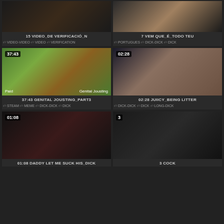[Figure (screenshot): Video thumbnail grid - top left: dark skin tone video]
15 VIDEO_DE VERIFICACIÓ_N
VIDEO-VIDEO  VIDEO  VERIFICATION
[Figure (screenshot): Video thumbnail grid - top right: bathroom tile background]
7 VEM QUE_É_TODO TEU
PORTUGUES  DICK-DICK  DICK
[Figure (screenshot): 37:43 - Genital Jousting game screenshot with cartoon graphics, Paid label]
37:43 GENITAL JOUSTING_PART3
STEAM  MEME  DICK-DICK  DICK
[Figure (screenshot): 02:28 - bedroom scene video thumbnail]
02:28 JUIICY_BEING LITTER
DICK-DICK  DICK  LONG-DICK
[Figure (screenshot): 01:08 - close up video thumbnail dark]
01:08 DADDY LET ME SUCK HIS_DICK
[Figure (screenshot): 3 - dark video thumbnail]
3 COCK